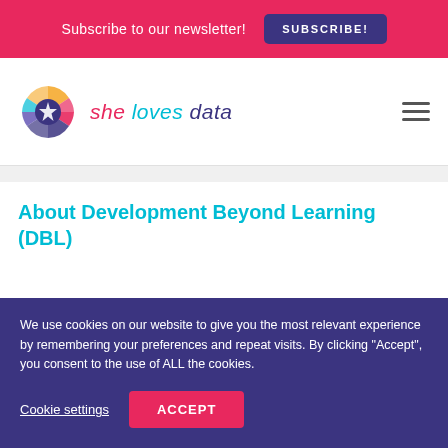Subscribe to our newsletter! SUBSCRIBE!
[Figure (logo): She Loves Data logo — colorful fan/pie chart icon with star, and italic text 'she loves data']
About Development Beyond Learning (DBL)
We use cookies on our website to give you the most relevant experience by remembering your preferences and repeat visits. By clicking "Accept", you consent to the use of ALL the cookies.
Cookie settings  ACCEPT